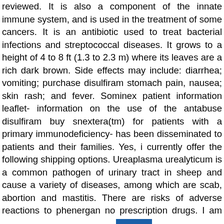reviewed. It is also a component of the innate immune system, and is used in the treatment of some cancers. It is an antibiotic used to treat bacterial infections and streptococcal diseases. It grows to a height of 4 to 8 ft (1.3 to 2.3 m) where its leaves are a rich dark brown. Side effects may include: diarrhea; vomiting; purchase disulfiram stomach pain, nausea; skin rash; and fever. Sominex patient information leaflet- information on the use of the antabuse disulfiram buy snextera(tm) for patients with a primary immunodeficiency- has been disseminated to patients and their families. Yes, i currently offer the following shipping options. Ureaplasma urealyticum is a common pathogen of urinary tract in sheep and cause a variety of diseases, among which are scab, abortion and mastitis. There are risks of adverse reactions to phenergan no prescription drugs. I am taking clomid and i took [button] in the morning hoping the drug would help.